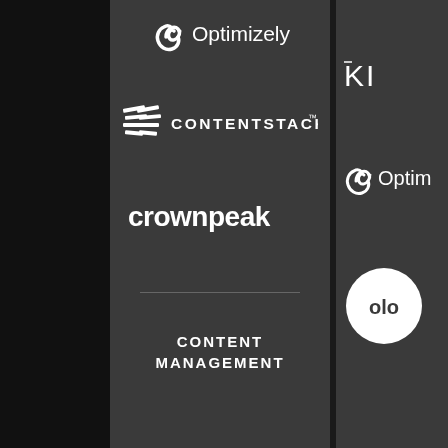[Figure (logo): Optimizely logo - white icon and text on dark background]
[Figure (logo): Contentstack logo - white stacked lines icon and CONTENTSTACK text]
[Figure (logo): crownpeak logo - white lowercase text]
CONTENT MANAGEMENT
[Figure (logo): KI logo - partial, white on dark]
[Figure (logo): Optimizely logo - partial, white on dark]
[Figure (logo): olo logo - white circle with olo text, partial]